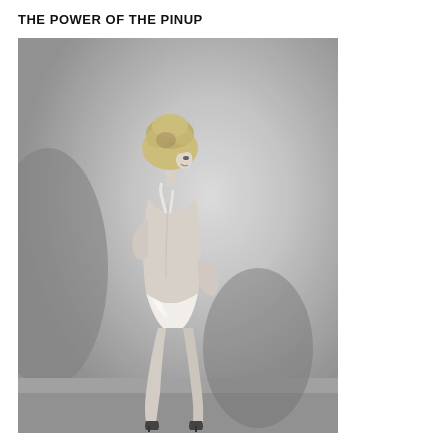THE POWER OF THE PINUP
[Figure (photo): Black and white vintage pinup photograph of a woman posed with her back to the camera, looking over her shoulder with a smile, wearing a white swimsuit and high heels, studio backdrop with soft shadows.]